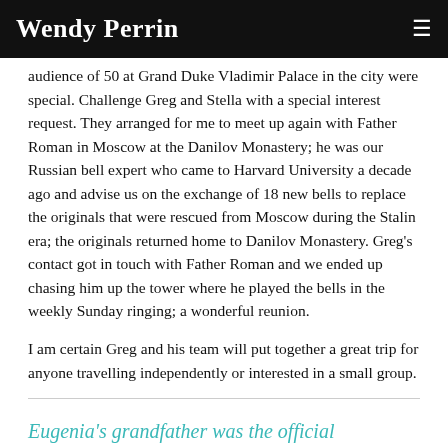Wendy Perrin
audience of 50 at Grand Duke Vladimir Palace in the city were special. Challenge Greg and Stella with a special interest request. They arranged for me to meet up again with Father Roman in Moscow at the Danilov Monastery; he was our Russian bell expert who came to Harvard University a decade ago and advise us on the exchange of 18 new bells to replace the originals that were rescued from Moscow during the Stalin era; the originals returned home to Danilov Monastery. Greg's contact got in touch with Father Roman and we ended up chasing him up the tower where he played the bells in the weekly Sunday ringing; a wonderful reunion.
I am certain Greg and his team will put together a great trip for anyone travelling independently or interested in a small group.
Eugenia's grandfather was the official photographer at the Hermitage, and she knows the museum like her own home.